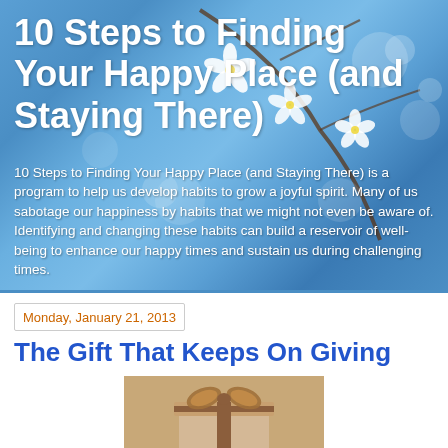[Figure (photo): Hero banner with blue sky and white cherry blossom flowers in the background]
10 Steps to Finding Your Happy Place (and Staying There)
10 Steps to Finding Your Happy Place (and Staying There) is a program to help us develop habits to grow a joyful spirit. Many of us sabotage our happiness by habits that we might not even be aware of. Identifying and changing these habits can build a reservoir of well-being to enhance our happy times and sustain us during challenging times.
Monday, January 21, 2013
The Gift That Keeps On Giving
[Figure (photo): A wrapped gift box with a bow on top, photographed on a warm tan/brown background]